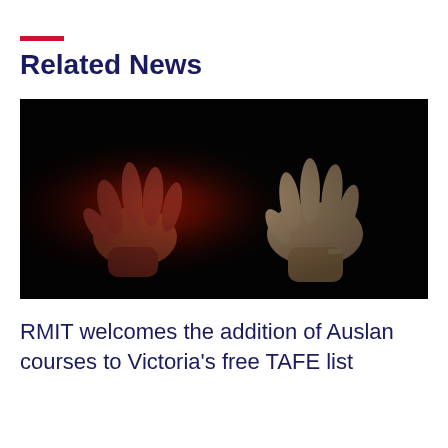Related News
[Figure (photo): Two hands performing Auslan (Australian Sign Language) gestures against a dark black background. The left hand is illuminated with a red/orange light glow, while the right hand remains in natural skin tone. Both hands are in mid-gesture facing each other.]
RMIT welcomes the addition of Auslan courses to Victoria's free TAFE list